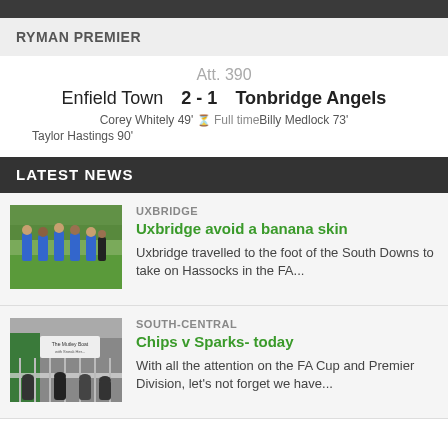RYMAN PREMIER
Att. 390
Enfield Town  2 - 1  Tonbridge Angels
Corey Whitely 49'  Full time  Billy Medlock 73'
Taylor Hastings 90'
LATEST NEWS
[Figure (photo): Football players in blue kits walking on grass pitch]
UXBRIDGE
Uxbridge avoid a banana skin
Uxbridge travelled to the foot of the South Downs to take on Hassocks in the FA...
[Figure (photo): Stand/terrace area with a sign reading 'The Mutley Boat' and spectators]
SOUTH-CENTRAL
Chips v Sparks- today
With all the attention on the FA Cup and Premier Division, let's not forget we have...